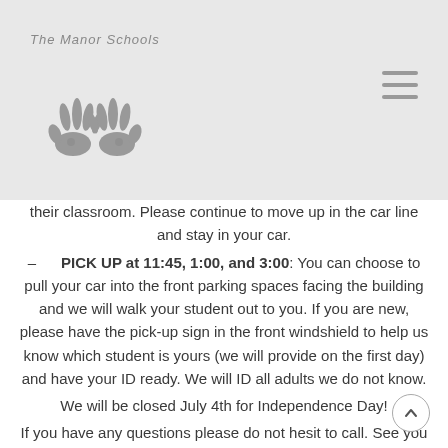[Figure (logo): The Manor Schools logo with two handprints and arched text]
their classroom.  Please continue to move up in the car line and stay in your car.
– PICK UP at 11:45, 1:00, and 3:00: You can choose to pull your car into the front parking spaces facing the building and we will walk your student out to you.  If you are new, please have the pick-up sign in the front windshield to help us know which student is yours (we will provide on the first day) and have your ID ready.  We will ID all adults we do not know.
We will be closed July 4th for Independence Day!
If you have any questions please do not hesit to call.  See you all next week for the start of Summer at PRMS!